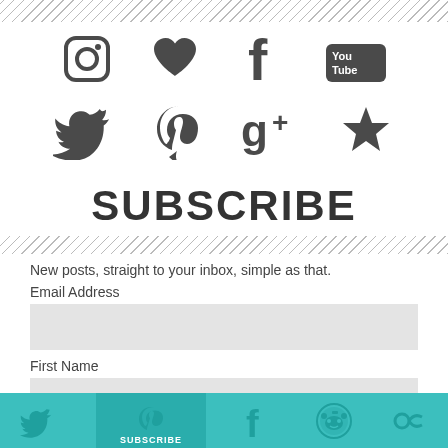[Figure (illustration): Diagonal stripe decorative top border]
[Figure (illustration): Row of social media icons: Instagram camera, heart/like, Facebook f, YouTube logo]
[Figure (illustration): Row of social media icons: Twitter bird, Pinterest p, Google+ g+, star/favorites]
SUBSCRIBE
[Figure (illustration): Diagonal stripe decorative mid border]
New posts, straight to your inbox, simple as that.
Email Address
First Name
[Figure (illustration): Teal bottom bar with social media share icons: Twitter, Pinterest, SUBSCRIBE button area, Facebook, Reddit, another icon]